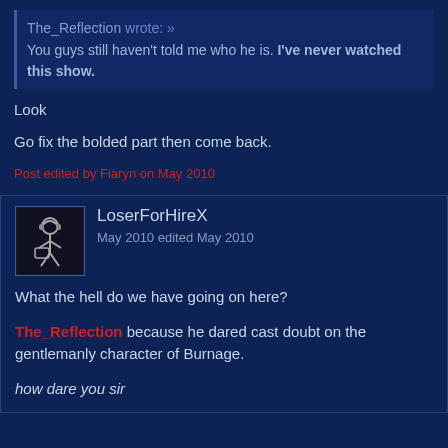The_Reflection wrote: » You guys still haven't told me who he is. I've never watched this show.
Look
Go fix the bolded part then come back.
Post edited by Fiaryn on May 2010
LoserForHireX
May 2010 edited May 2010
What the hell do we have going on here?
The_Reflection because he dared cast doubt on the gentlemanly character of Burnage.
how dare you sir